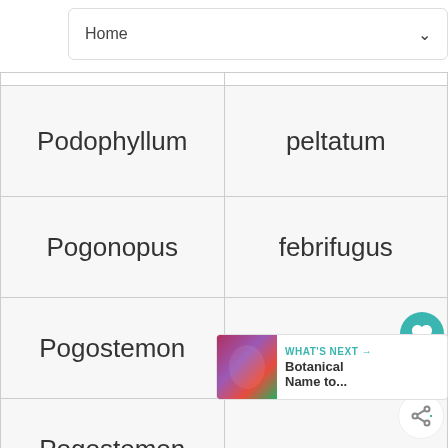[Figure (screenshot): Dropdown menu bar showing 'Home' with a chevron down arrow]
| Podophyllum | peltatum |
| Pogonopus | febrifugus |
| Pogostemon | heyneanus |
| Pogostemon |  |
| Pogostemon | cablin |
| Pogostemon | patch |